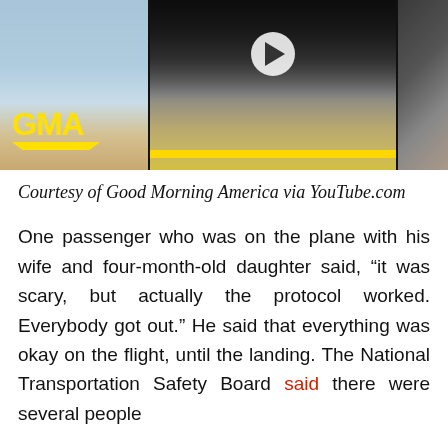[Figure (photo): GMA (Good Morning America) video thumbnail showing an airport scene with a plane fire and black smoke. Left panel has the yellow GMA logo, center panel shows the fire/smoke scene with a video play button overlay, right panel shows a blurred/dark scene.]
Courtesy of Good Morning America via YouTube.com
One passenger who was on the plane with his wife and four-month-old daughter said, “it was scary, but actually the protocol worked. Everybody got out.” He said that everything was okay on the flight, until the landing. The National Transportation Safety Board said there were several people